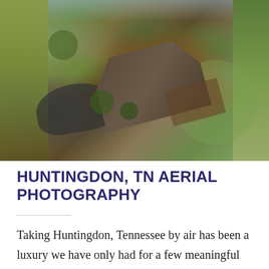[Figure (photo): Aerial drone photograph of a residential property in Huntingdon, Tennessee, showing a large house with dark metal roof, driveway, landscaped lawn, deck, and surrounding trees taken from above.]
HUNTINGDON, TN AERIAL PHOTOGRAPHY
Taking Huntingdon, Tennessee by air has been a luxury we have only had for a few meaningful years. 360Nash is qualified and certified by the FAA and NASA to professionally photograph...